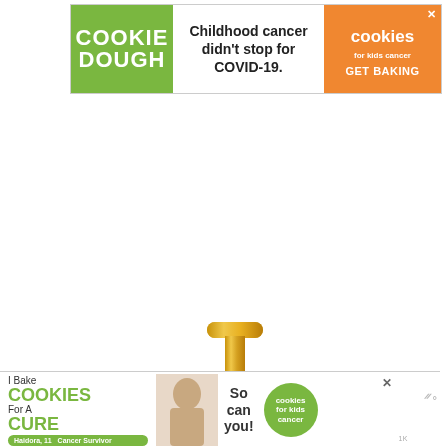[Figure (infographic): Top banner advertisement for Cookies for Kids Cancer cookie dough fundraiser. Left green section with 'COOKIE DOUGH' text, center white section with 'Childhood cancer didn't stop for COVID-19.' text, right orange section with cookies logo and 'GET BAKING' call to action with X close button.]
[Figure (infographic): Partial gold metallic balloon letter 'I' visible in lower center of content area. Grey watermark text with wave symbol visible on right side.]
[Figure (infographic): Bottom banner advertisement: 'I Bake COOKIES For A CURE' with Haidora pill badge, photo of smiling girl, 'So can you!' text, cookies for kids cancer circular logo, X close button, and watermark text on right.]